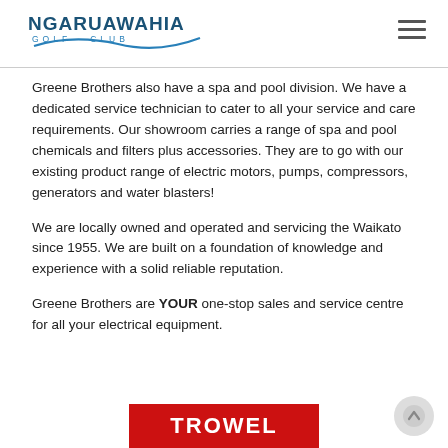Ngaruawahia Golf Club
Greene Brothers also have a spa and pool division. We have a dedicated service technician to cater to all your service and care requirements. Our showroom carries a range of spa and pool chemicals and filters plus accessories. They are to go with our existing product range of electric motors, pumps, compressors, generators and water blasters!
We are locally owned and operated and servicing the Waikato since 1955. We are built on a foundation of knowledge and experience with a solid reliable reputation.
Greene Brothers are YOUR one-stop sales and service centre for all your electrical equipment.
[Figure (logo): Trowel brand logo: red rectangle with white bold text 'TROWEL']